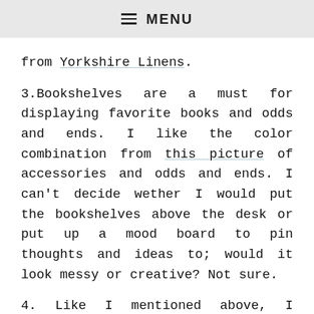≡ MENU
from Yorkshire Linens.
3.Bookshelves are a must for displaying favorite books and odds and ends. I like the color combination from this picture of accessories and odds and ends. I can't decide wether I would put the bookshelves above the desk or put up a mood board to pin thoughts and ideas to; would it look messy or creative? Not sure.
4. Like I mentioned above, I definitely love the idea of a white desk, so that the accessories really pop. I love this one from Ikea because it does have some drawers where I can stor…